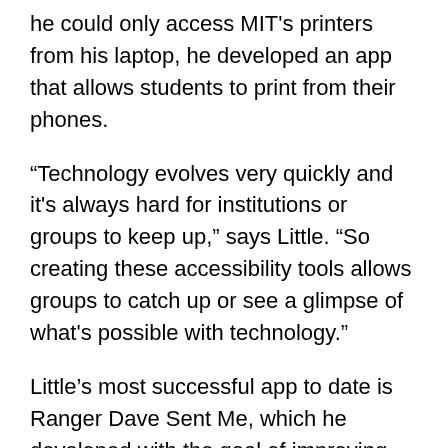he could only access MIT's printers from his laptop, he developed an app that allows students to print from their phones.
“Technology evolves very quickly and it's always hard for institutions or groups to keep up,” says Little. “So creating these accessibility tools allows groups to catch up or see a glimpse of what's possible with technology.”
Little’s most successful app to date is Ranger Dave Sent Me, which he developed with the goal of improving people’s experiences at music festivals. These festivals tend to last all day or all weekend long, and people often know only a few of the many artists performing. The app uses festival-goers’